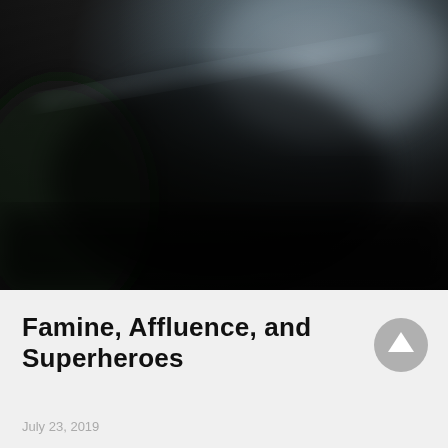[Figure (photo): Dark, blurry photograph with shadowy figures and a dimly lit background; mostly dark tones with some blue-gray highlights in the upper portion]
Famine, Affluence, and Superheroes
July 23, 2019